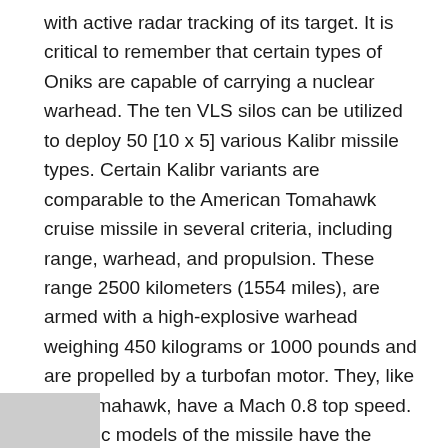with active radar tracking of its target. It is critical to remember that certain types of Oniks are capable of carrying a nuclear warhead. The ten VLS silos can be utilized to deploy 50 [10 x 5] various Kalibr missile types. Certain Kalibr variants are comparable to the American Tomahawk cruise missile in several criteria, including range, warhead, and propulsion. These range 2500 kilometers (1554 miles), are armed with a high-explosive warhead weighing 450 kilograms or 1000 pounds and are propelled by a turbofan motor. They, like the Tomahawk, have a Mach 0.8 top speed. Specific models of the missile have the second stage of propulsion, enabling a supersonic charge to the target during the terminal approach, reducing reaction time. Kalibr, like Oniks, is capable of carrying nuclear weapons.